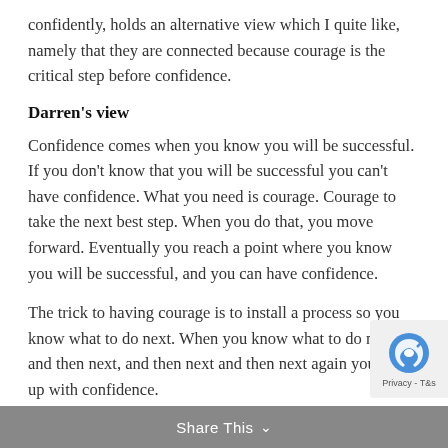confidently, holds an alternative view which I quite like, namely that they are connected because courage is the critical step before confidence.
Darren's view
Confidence comes when you know you will be successful. If you don't know that you will be successful you can't have confidence. What you need is courage. Courage to take the next best step. When you do that, you move forward. Eventually you reach a point where you know you will be successful, and you can have confidence.
The trick to having courage is to install a process so you know what to do next. When you know what to do next, and then next, and then next and then next again you end up with confidence.
Whether you are delivering a presentation, selling a
Share This